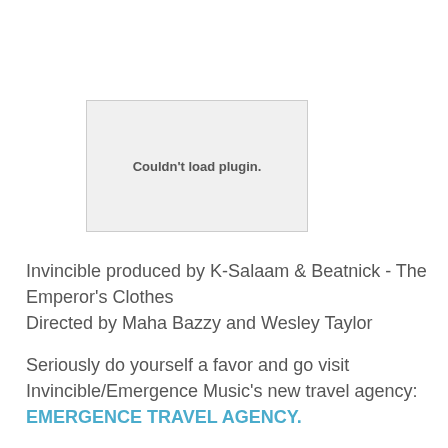[Figure (other): Couldn't load plugin. placeholder box]
Invincible produced by K-Salaam & Beatnick - The Emperor's Clothes
Directed by Maha Bazzy and Wesley Taylor
Seriously do yourself a favor and go visit Invincible/Emergence Music's new travel agency: EMERGENCE TRAVEL AGENCY.
It's not a travel agency but it will take you places you need to go.